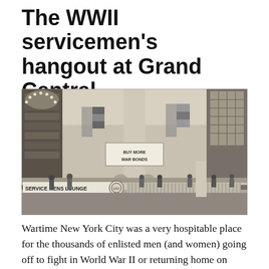The WWII servicemen's hangout at Grand Central
[Figure (photo): Black and white historical photograph of the interior of Grand Central Terminal during WWII, showing the main concourse with a 'BUY MORE WAR BONDS' banner hanging from the ceiling, American flags, a 'SERVICE MENS LOUNGE' sign along a balcony railing, and crowds of people below.]
Wartime New York City was a very hospitable place for the thousands of enlisted men (and women) going off to fight in World War II or returning home on furlough.